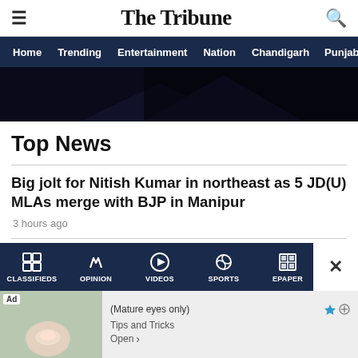The Tribune
Home | Trending | Entertainment | Nation | Chandigarh | Punjab
[Figure (photo): Dark blue/black gradient hero image, partial view]
Top News
Big jolt for Nitish Kumar in northeast as 5 JD(U) MLAs merge with BJP in Manipur
3 hours ago
Nitish Kumar to be in Delhi on September 5-7 to meet Opposition leaders
3 mins ago
CLASSIFIEDS | OPINION | VIDEOS | SPORTS | EPAPER